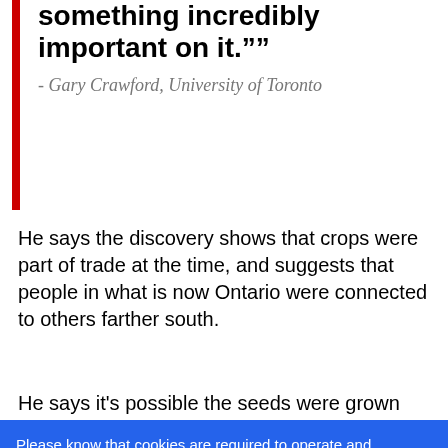something incredibly important on it.””
- Gary Crawford, University of Toronto
He says the discovery shows that crops were part of trade at the time, and suggests that people in what is now Ontario were connected to others farther south.
He says it's possible the seeds were grown here, but
Please know that cookies are required to operate and enhance our services as well as for advertising purposes. We value your privacy. If you are not comfortable with us using this information, please review your settings before continuing your visit.